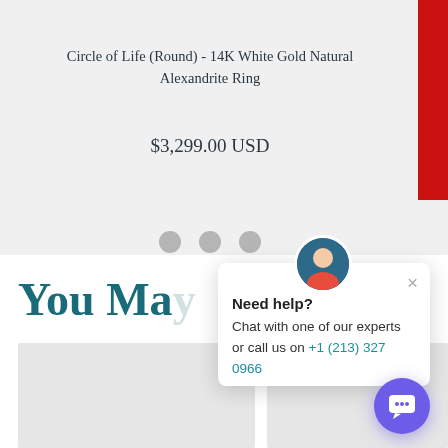[Figure (photo): Partial product image at top, cut off at top edge]
Circle of Life (Round) - 14K White Gold Natural Alexandrite Ring
$3,299.00 USD
[Figure (screenshot): Navigation dots (three gray circles)]
You Ma...
[Figure (screenshot): Chat popup with avatar: 'Need help? Chat with one of our experts or call us on +1 (213) 327 0966']
[Figure (screenshot): Purple chat bubble button in lower right]
[Figure (photo): Two gray product thumbnail placeholders at bottom]
[Figure (other): Red REVIEWS tab on right side]